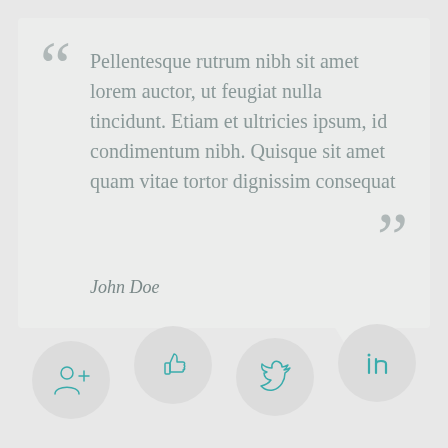Pellentesque rutrum nibh sit amet lorem auctor, ut feugiat nulla tincidunt. Etiam et ultricies ipsum, id condimentum nibh. Quisque sit amet quam vitae tortor dignissim consequat
John Doe
[Figure (infographic): Four social media icon buttons in circular grey backgrounds: Google+, Facebook Like (thumbs up), Twitter bird, LinkedIn]